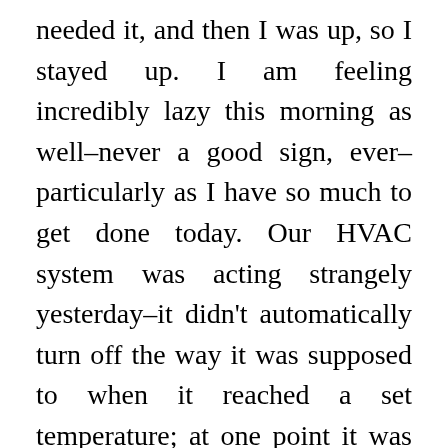needed it, and then I was up, so I stayed up. I am feeling incredibly lazy this morning as well–never a good sign, ever–particularly as I have so much to get done today. Our HVAC system was acting strangely yesterday–it didn't automatically turn off the way it was supposed to when it reached a set temperature; at one point it was 60 degrees downstairs, so I turned it off. This morning it doesn't feel like it's freezing downstairs–and that's not the hot coffee's effect, either–so maybe it's working the way it should now. The electricians who installed it are coming by today, so I intend to get